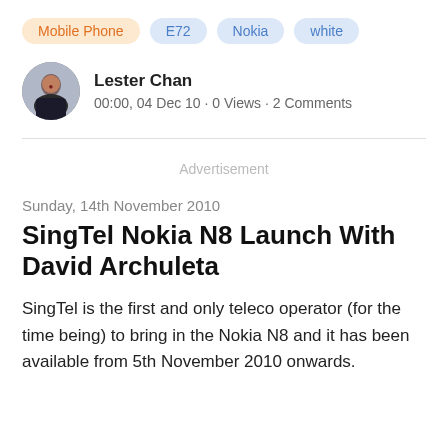Mobile Phone
E72
Nokia
white
[Figure (photo): Circular avatar photo of Lester Chan]
Lester Chan
00:00, 04 Dec 10 · 0 Views · 2 Comments
Advertisement
Sunday, 14th November 2010
SingTel Nokia N8 Launch With David Archuleta
SingTel is the first and only teleco operator (for the time being) to bring in the Nokia N8 and it has been available from 5th November 2010 onwards.